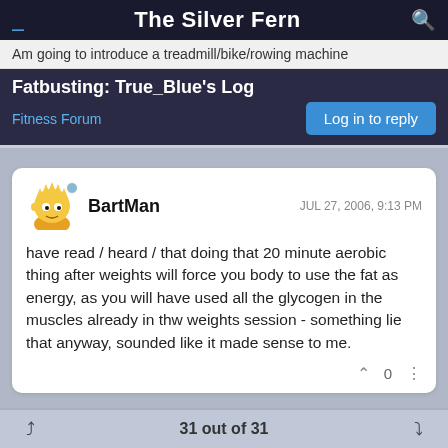The Silver Fern
Am going to introduce a treadmill/bike/rowing machine
Fatbusting: True_Blue's Log
Fitness Forum
Log in to reply
BartMan  JUL 27, 2006, 9:13 PM
have read / heard / that doing that 20 minute aerobic thing after weights will force you body to use the fat as energy, as you will have used all the glycogen in the muscles already in thw weights session - something lie that anyway, sounded like it made sense to me.
31 out of 31